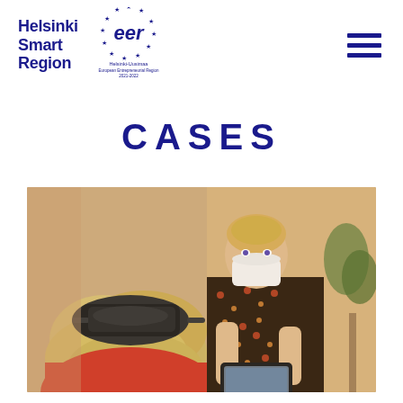[Figure (logo): Helsinki Smart Region text logo in dark navy blue bold font]
[Figure (logo): EER (European Entrepreneurial Region) circular logo with EU stars, Helsinki-Uusimaa European Entrepreneurial Region 2021-2022]
[Figure (logo): Hamburger menu icon (three horizontal navy bars)]
CASES
[Figure (photo): Photo of an elderly person wearing a VR headset viewed from behind, with a female healthcare worker wearing a face mask looking at a tablet in the background]